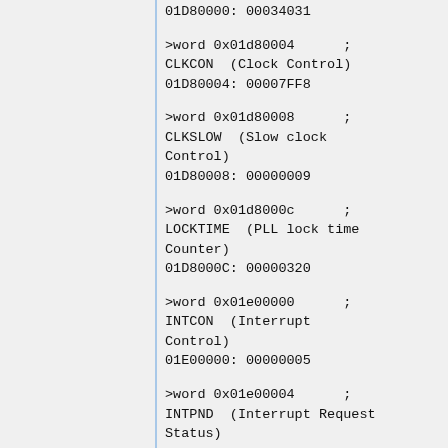01D80000: 00034031
>word 0x01d80004      ;
CLKCON  (Clock Control)
01D80004: 00007FF8
>word 0x01d80008      ;
CLKSLOW  (Slow clock Control)
01D80008: 00000009
>word 0x01d8000c      ;
LOCKTIME  (PLL lock time Counter)
01D8000C: 00000320
>word 0x01e00000      ;
INTCON  (Interrupt Control)
01E00000: 00000005
>word 0x01e00004      ;
INTPND  (Interrupt Request Status)
01E00004: 00221800